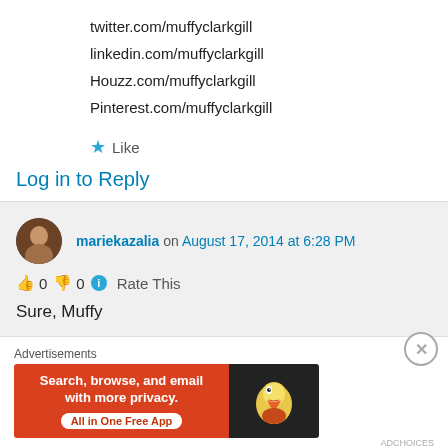twitter.com/muffyclarkgill
linkedin.com/muffyclarkgill
Houzz.com/muffyclarkgill
Pinterest.com/muffyclarkgill
★ Like
Log in to Reply
mariekazalia on August 17, 2014 at 6:28 PM
👍 0 👎 0 ℹ Rate This
Sure, Muffy
Advertisements
[Figure (screenshot): DuckDuckGo advertisement banner: orange left panel with text 'Search, browse, and email with more privacy. All in One Free App' and dark right panel with DuckDuckGo duck logo]